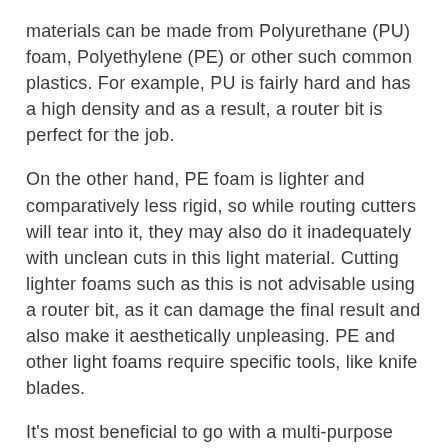materials can be made from Polyurethane (PU) foam, Polyethylene (PE) or other such common plastics. For example, PU is fairly hard and has a high density and as a result, a router bit is perfect for the job.
On the other hand, PE foam is lighter and comparatively less rigid, so while routing cutters will tear into it, they may also do it inadequately with unclean cuts in this light material. Cutting lighter foams such as this is not advisable using a router bit, as it can damage the final result and also make it aesthetically unpleasing. PE and other light foams require specific tools, like knife blades.
It's most beneficial to go with a multi-purpose machine with the proper tools that are programmed to cut all types of foam. This can be a godsend for resolving any queries that may arise with foam processing and allows for a more versatile production process.